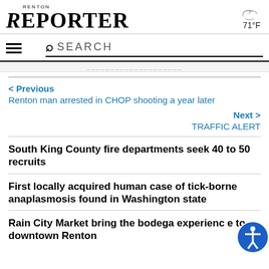RENTON REPORTER - 71°F
SEARCH
< Previous
Renton man arrested in CHOP shooting a year later
Next >
TRAFFIC ALERT
South King County fire departments seek 40 to 50 recruits
First locally acquired human case of tick-borne anaplasmosis found in Washington state
Rain City Market bring the bodega experience to downtown Renton